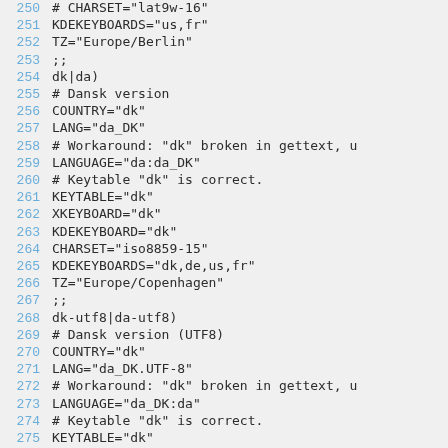Code listing lines 250-276, shell script case statement for locale configuration
250    # CHARSET="lat9w-16"
251    KDEKEYBOARDS="us,fr"
252    TZ="Europe/Berlin"
253    ;;
254    dk|da)
255        # Dansk version
256        COUNTRY="dk"
257        LANG="da_DK"
258        # Workaround: "dk" broken in gettext, u
259        LANGUAGE="da:da_DK"
260        # Keytable "dk" is correct.
261        KEYTABLE="dk"
262        XKEYBOARD="dk"
263        KDEKEYBOARD="dk"
264        CHARSET="iso8859-15"
265        KDEKEYBOARDS="dk,de,us,fr"
266        TZ="Europe/Copenhagen"
267        ;;
268    dk-utf8|da-utf8)
269        # Dansk version (UTF8)
270        COUNTRY="dk"
271        LANG="da_DK.UTF-8"
272        # Workaround: "dk" broken in gettext, u
273        LANGUAGE="da_DK:da"
274        # Keytable "dk" is correct.
275        KEYTABLE="dk"
276        XKEYBOARD="dk"